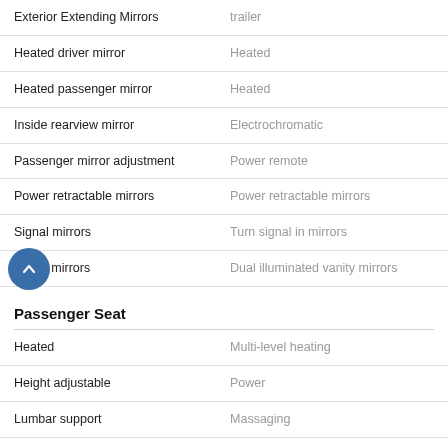| Feature | Value |
| --- | --- |
| Exterior Extending Mirrors | trailer |
| Heated driver mirror | Heated |
| Heated passenger mirror | Heated |
| Inside rearview mirror | Electrochromatic |
| Passenger mirror adjustment | Power remote |
| Power retractable mirrors | Power retractable mirrors |
| Signal mirrors | Turn signal in mirrors |
| Vanity mirrors | Dual illuminated vanity mirrors |
Passenger Seat
| Feature | Value |
| --- | --- |
| Heated | Multi-level heating |
| Height adjustable | Power |
| Lumbar support | Massaging |
| Manual Adjustments | 8 |
| Massaging | Massaging |
| Power adjustments | 8 |